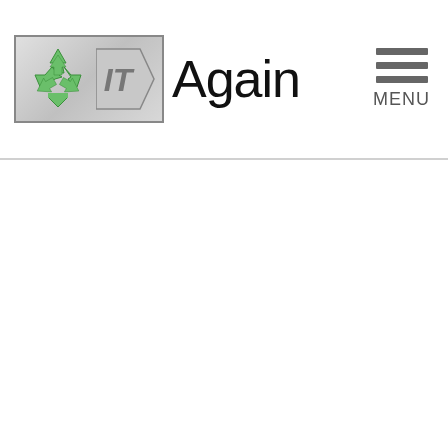[Figure (logo): IT Again logo with recycling symbol icon on left, arrow-shaped IT badge, and 'Again' text. Menu hamburger icon with MENU label on right.]